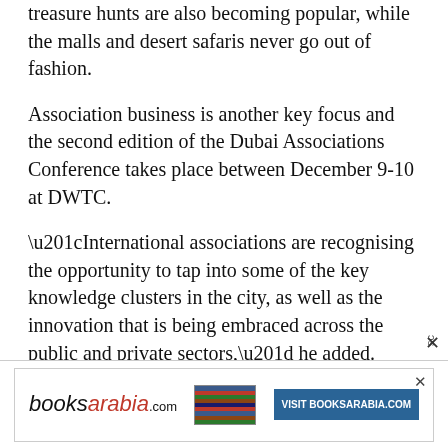treasure hunts are also becoming popular, while the malls and desert safaris never go out of fashion.
Association business is another key focus and the second edition of the Dubai Associations Conference takes place between December 9-10 at DWTC.
“International associations are recognising the opportunity to tap into some of the key knowledge clusters in the city, as well as the innovation that is being embraced across the public and private sectors,” he added. “They also realise that Dubai provides a platform for their own growth, both through attendance at events here and by setting
[Figure (other): Advertisement banner for booksarabia.com with logo, stack of books image, and 'VISIT BOOKSARABIA.COM' button]